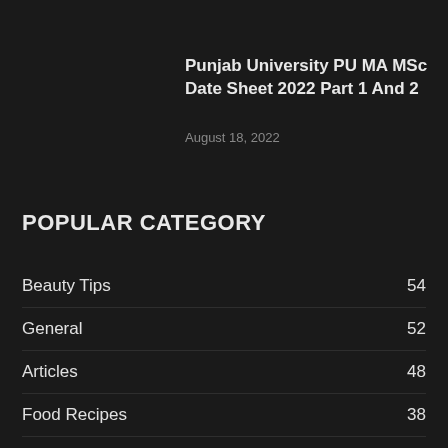Punjab University PU MA MSc Date Sheet 2022 Part 1 And 2
August 18, 2022
POPULAR CATEGORY
Beauty Tips    54
General    52
Articles    48
Food Recipes    38
Admissions    29
Health Tips    28
Education    23